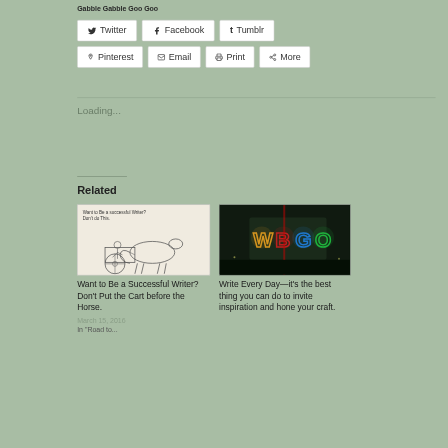Gabble Gabble Goo Goo
[Figure (screenshot): Social share buttons: Twitter, Facebook, Tumblr in first row; Pinterest, Email, Print, More in second row]
Loading...
Related
[Figure (illustration): Sketch illustration of a horse pulling a cart with text 'Want to Be a Successful Writer? Don't do This.' for related article]
Want to Be a Successful Writer? Don't Put the Cart before the Horse.
March 15, 2016
In "Road to..."
[Figure (photo): Blurry nighttime photo of WBGO neon sign in colorful lights]
Write Every Day—it's the best thing you can do to invite inspiration and hone your craft.